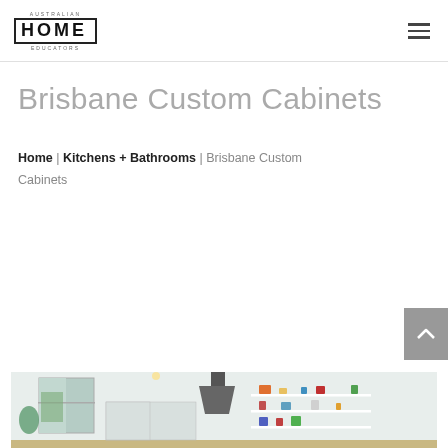Australian Home Educators logo and navigation menu
Brisbane Custom Cabinets
Home | Kitchens + Bathrooms | Brisbane Custom Cabinets
[Figure (photo): Kitchen interior photo showing white open shelving with decorative items, a black range hood, a window with garden view, and a wooden countertop.]